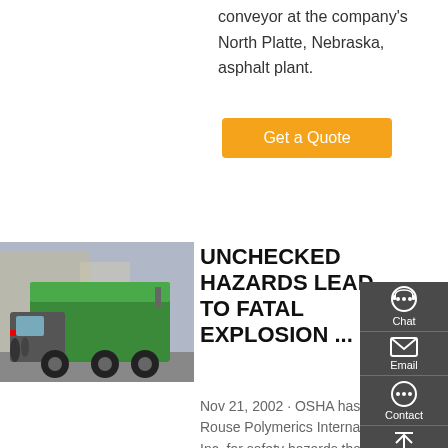conveyor at the company's North Platte, Nebraska, asphalt plant.
Get a Quote
[Figure (photo): Green dump truck photographed from behind at an outdoor event]
UNCHECKED HAZARDS LEAD TO FATAL EXPLOSION ...
Nov 21, 2002 · OSHA has cited Rouse Polymerics International, Inc. for safety hazards that led to a fatal explosion at the company's Vicksburg, Miss. plant. Fines totaling $210,600 were proposed in connection
[Figure (infographic): Dark sidebar with Chat, Email, Contact, and Top navigation icons]